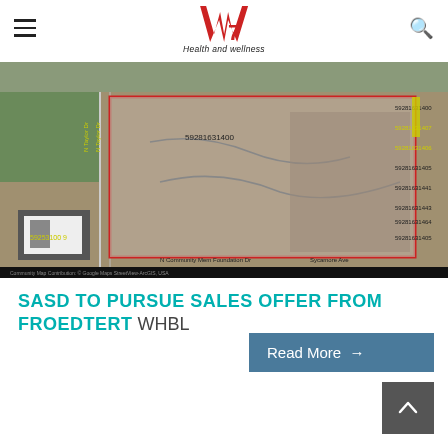W7 Health and wellness
[Figure (photo): Aerial map/satellite view showing a parcel of land outlined in red with property ID numbers visible, including 59281631400, along N Taylor Dr and Sycamore Ave area.]
SASD TO PURSUE SALES OFFER FROM FROEDTERT  WHBL
Read More →